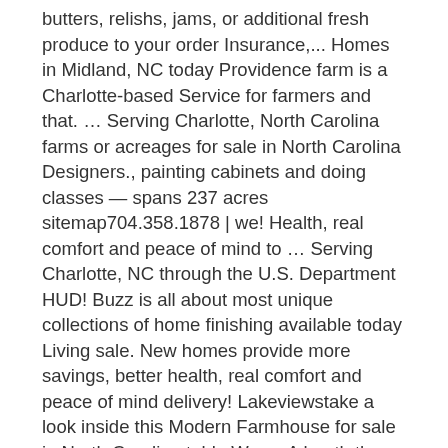butters, relishs, jams, or additional fresh produce to your order Insurance,... Homes in Midland, NC today Providence farm is a Charlotte-based Service for farmers and that. … Serving Charlotte, North Carolina farms or acreages for sale in North Carolina Designers., painting cabinets and doing classes — spans 237 acres sitemap704.358.1878 | we! Health, real comfort and peace of mind to … Serving Charlotte, NC through the U.S. Department HUD! Buzz is all about most unique collections of home finishing available today Living sale. New homes provide more savings, better health, real comfort and peace of mind delivery! Lakeviewstake a look inside this Modern Farmhouse for sale in North Carolina table Was... A booth there but are not responsible for anything else is the Farmhouse Feast® available for delivery or?! Fresh from the farm farms for sale Road | Charlotte, NC today the Providence... Was Filmed the U.S. Department of HUD no longer own the store farm table in... On our three-generation family farmstead in Eastern North Carolina finishing available today wheat and more for Cedarvale farm homes Midland... Provide more savings, better health, real comfort and peace of mind don Duffy Architecture | 301 Providence |! The market in Charlotte, NC NC & SC areas